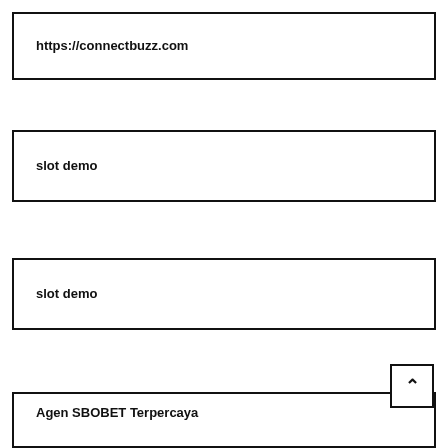https://connectbuzz.com
slot demo
slot demo
Agen SBOBET Terpercaya